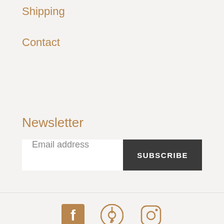Shipping
Contact
Newsletter
Email address
SUBSCRIBE
[Figure (other): Social media icons: Facebook, Pinterest, Instagram in brown/tan color]
© 2022, Akazi Powered by Shopify